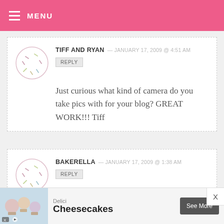MENU
TIFF AND RYAN — JANUARY 17, 2009 @ 4:51 AM
REPLY
Just curious what kind of camera do you take pics with for your blog? GREAT WORK!!! Tiff
BAKERELLA — JANUARY 17, 2009 @ 1:38 AM
REPLY
Amalia – thanks!
[Figure (infographic): Advertisement banner for Delici Cheesecakes with a See More button and close button]